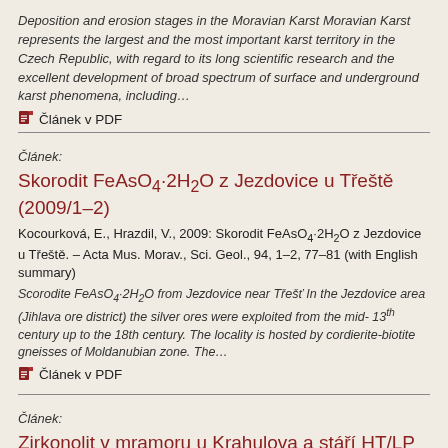Deposition and erosion stages in the Moravian Karst Moravian Karst represents the largest and the most important karst territory in the Czech Republic, with regard to its long scientific research and the excellent development of broad spectrum of surface and underground karst phenomena, including…
🗎 Článek v PDF
Článek:
Skorodit FeAsO₄·2H₂O z Jezdovice u Třeště (2009/1–2)
Kocourková, E., Hrazdil, V., 2009: Skorodit FeAsO₄·2H₂O z Jezdovice u Třeště. – Acta Mus. Morav., Sci. Geol., 94, 1–2, 77–81 (with English summary)
Scorodite FeAsO₄·2H₂O from Jezdovice near Třešť In the Jezdovice area (Jihlava ore district) the silver ores were exploited from the mid- 13th century up to the 18th century. The locality is hosted by cordierite-biotite gneisses of Moldanubian zone. The…
🗎 Článek v PDF
Článek:
Zirkonolit v mramoru u Krahulova a stáří HT/LP metamorfózy moldanubika v kontaktní aureole třebíčského